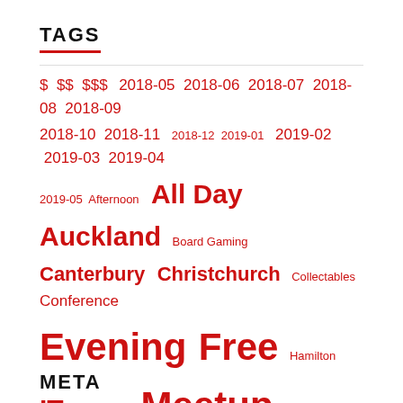TAGS
$ $$ $$$ 2018-05 2018-06 2018-07 2018-08 2018-09 2018-10 2018-11 2018-12 2019-01 2019-02 2019-03 2019-04 2019-05 Afternoon All Day Auckland Board Gaming Canterbury Christchurch Collectables Conference Evening Free Hamilton IT Manawatu Meetup Models Multi Day Palmerston North Policy Pop Culture Programming Science Single Day Talks Techweek Waikato Weekday Weekend Wellington Women
META